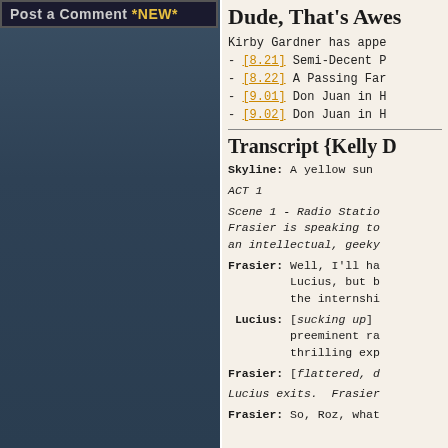Post a Comment *NEW*
Dude, That's Awes...
- [8.21] Semi-Decent F...
- [8.22] A Passing Far...
- [9.01] Don Juan in H...
- [9.02] Don Juan in H...
Transcript {Kelly D...
Skyline: A yellow sun...
ACT 1
Scene 1 - Radio Statio... Frasier is speaking to... an intellectual, geeky...
Frasier: Well, I'll ha... Lucius, but b... the internshi...
Lucius: [sucking up] preeminent ra... thrilling exp...
Frasier: [flattered, d...
Lucius exits. Frasier...
Frasier: So, Roz, what...